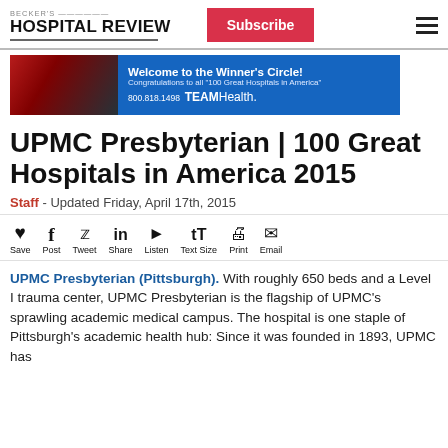BECKER'S HOSPITAL REVIEW
[Figure (screenshot): TEAMHealth advertisement banner: Welcome to the Winner's Circle! Congratulations to all '100 Great Hospitals in America'. 800.818.1498 TEAMHealth.]
UPMC Presbyterian | 100 Great Hospitals in America 2015
Staff - Updated Friday, April 17th, 2015
[Figure (infographic): Social sharing toolbar with icons: Save (heart), Post (Facebook f), Tweet (Twitter bird), Share (LinkedIn in), Listen (play button), Text Size (Tt), Print (printer), Email (envelope)]
UPMC Presbyterian (Pittsburgh). With roughly 650 beds and a Level I trauma center, UPMC Presbyterian is the flagship of UPMC's sprawling academic medical campus. The hospital is one staple of Pittsburgh's academic health hub: Since it was founded in 1893, UPMC has